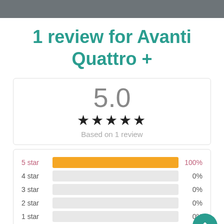1 review for Avanti Quattro +
[Figure (infographic): Rating summary box showing 5.0 score, five filled stars, and 'Based on 1 review']
[Figure (bar-chart): Star rating breakdown]